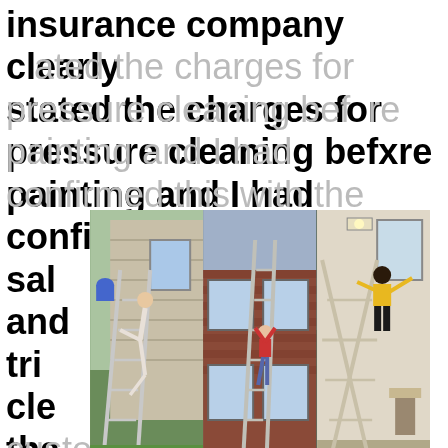insurance company clearly stated the charges for pressure cleaning before painting and I had confirmed this with the salesperson and trimmed without that custom paint color for the trim. The sales person had
[Figure (photo): Three side-by-side photos of people falling off ladders: left photo shows a person falling off a ladder leaning against a house with white siding outdoors; center photo shows a person hanging from a window on a brick house with a ladder nearby; right photo shows a person falling off a ladder indoors.]